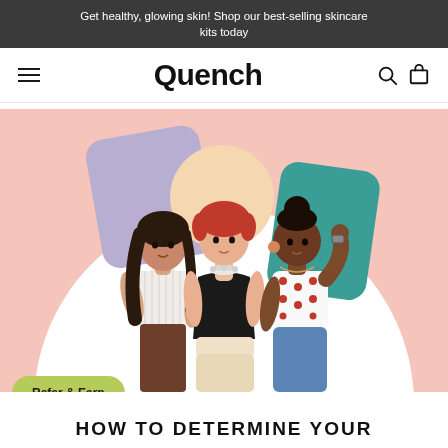Get healthy, glowing skin! Shop our best-selling skincare kits today
Quench
[Figure (illustration): Illustration of three diverse women standing together against a pink background with geometric shapes (lavender, peach, teal). Left woman has long dark hair wearing white top and brown pants; center woman has short red hair wearing black top with bead necklace; right woman has dark skin and bun hairstyle wearing white polka dot top and blue shorts.]
Refer & Earn
HOW TO DETERMINE YOUR